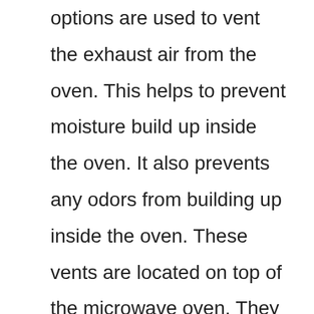options are used to vent the exhaust air from the oven. This helps to prevent moisture build up inside the oven. It also prevents any odors from building up inside the oven. These vents are located on top of the microwave oven. They are usually found on the back side of the microwave oven.